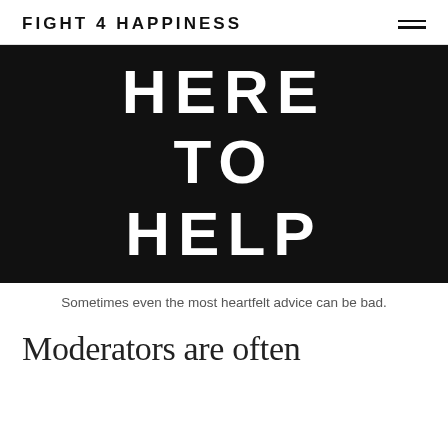FIGHT 4 HAPPINESS
[Figure (photo): Black background with white hand-lettered text reading HERE TO HELP]
Sometimes even the most heartfelt advice can be bad.
Moderators are often